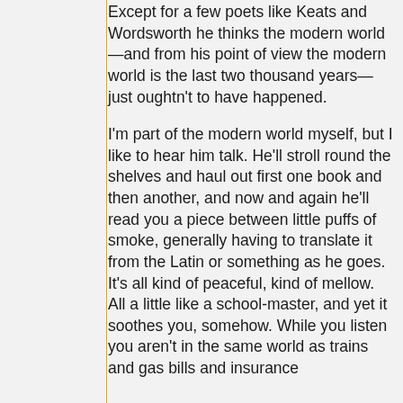Except for a few poets like Keats and Wordsworth he thinks the modern world—and from his point of view the modern world is the last two thousand years—just oughtn't to have happened.

I'm part of the modern world myself, but I like to hear him talk. He'll stroll round the shelves and haul out first one book and then another, and now and again he'll read you a piece between little puffs of smoke, generally having to translate it from the Latin or something as he goes. It's all kind of peaceful, kind of mellow. All a little like a school-master, and yet it soothes you, somehow. While you listen you aren't in the same world as trains and gas bills and insurance